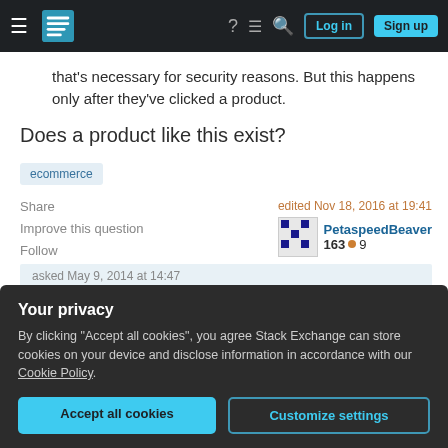Stack Exchange navigation bar with hamburger menu, logo, help, chat, search icons, Log in and Sign up buttons
that's necessary for security reasons. But this happens only after they've clicked a product.
Does a product like this exist?
ecommerce
Share
Improve this question
Follow
edited Nov 18, 2016 at 19:41
PetaspeedBeaver
163 ● 9
asked May 9, 2014 at 14:47
Your privacy
By clicking "Accept all cookies", you agree Stack Exchange can store cookies on your device and disclose information in accordance with our Cookie Policy.
Accept all cookies
Customize settings
detail handling API of payment gateways rather than any full e-commerce solution. Of course then you have